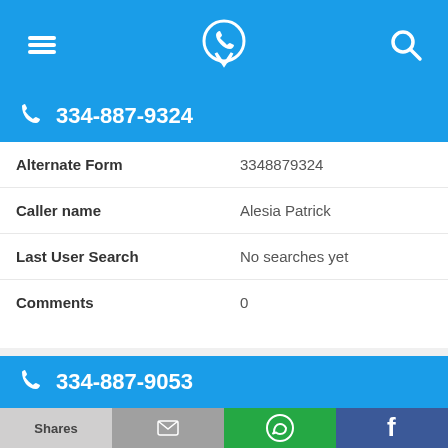[Figure (screenshot): Top navigation bar with hamburger menu, phone/location icon, and search icon on blue background]
334-887-9324
| Alternate Form | 3348879324 |
| Caller name | Alesia Patrick |
| Last User Search | No searches yet |
| Comments | 0 |
334-887-9053
| Alternate Form | 3348879053 |
Shares | [email] | [WhatsApp] | [Facebook]